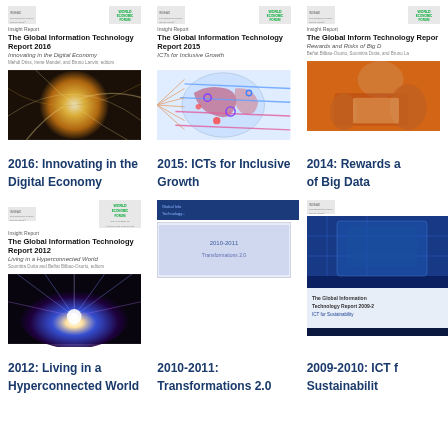[Figure (photo): Cover of The Global Information Technology Report 2016 - Innovating in the Digital Economy, with glowing orb image]
2016: Innovating in the Digital Economy
[Figure (photo): Cover of The Global Information Technology Report 2015 - ICTs for Inclusive Growth, with colorful network/globe image]
2015: ICTs for Inclusive Growth
[Figure (photo): Cover of The Global Information Technology Report 2014 - Rewards and Risks of Big Data, partially cropped]
2014: Rewards and Risks of Big Data
[Figure (photo): Cover of The Global Information Technology Report 2012 - Living in a Hyperconnected World]
2012: Living in a Hyperconnected World
[Figure (photo): Cover of The Global Information Technology Report 2010-2011 - Transformations 2.0, partially visible]
2010-2011: Transformations 2.0
[Figure (photo): Cover of The Global Information Technology Report 2009-2010 - ICT for Sustainability, blue technology image]
2009-2010: ICT for Sustainability